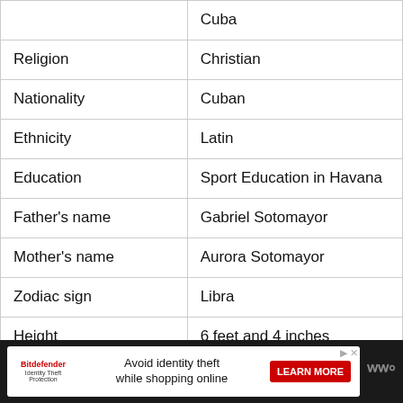| Field | Value |
| --- | --- |
|  | Cuba |
| Religion | Christian |
| Nationality | Cuban |
| Ethnicity | Latin |
| Education | Sport Education in Havana |
| Father's name | Gabriel Sotomayor |
| Mother's name | Aurora Sotomayor |
| Zodiac sign | Libra |
| Height | 6 feet and 4 inches |
| Weight | 80 kg |
| Spouse | Amaya Gonzalez |
| Children | Four sons |